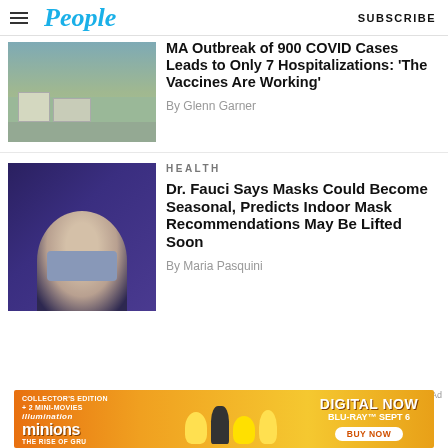People | SUBSCRIBE
[Figure (photo): Aerial or elevated view of a coastal Massachusetts town with houses, cars, and water in background]
MA Outbreak of 900 COVID Cases Leads to Only 7 Hospitalizations: 'The Vaccines Are Working'
By Glenn Garner
HEALTH
[Figure (photo): Headshot of Dr. Anthony Fauci against dark blue/purple background]
Dr. Fauci Says Masks Could Become Seasonal, Predicts Indoor Mask Recommendations May Be Lifted Soon
By Maria Pasquini
[Figure (illustration): Advertisement banner for Minions: The Rise of Gru — Collector's Edition + 2 Mini-Movies. Digital Now, Blu-Ray Sept 6, Buy Now.]